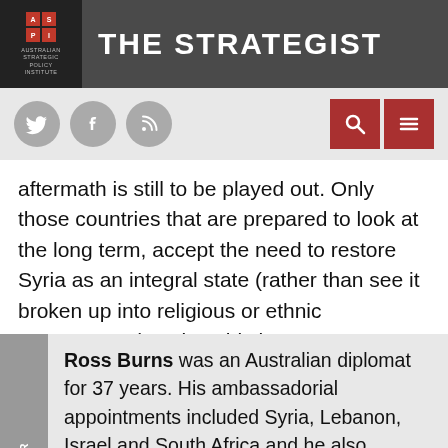THE STRATEGIST
aftermath is still to be played out. Only those countries that are prepared to look at the long term, accept the need to restore Syria as an integral state (rather than see it broken up into religious or ethnic cantonments) and avoid short-term posturing can aspire to have any positive influence.
Ross Burns was an Australian diplomat for 37 years. His ambassadorial appointments included Syria, Lebanon, Israel and South Africa and he also supervised Australia's relations with South Africa in the era of sanctions. He has written extensively on the history and archaeology of Syria. Image: UNHCR Photo